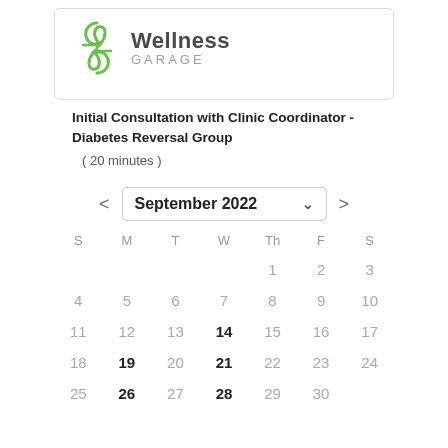[Figure (logo): Wellness Garage logo with green DNA/leaf icon and text 'Wellness GARAGE']
Initial Consultation with Clinic Coordinator - Diabetes Reversal Group
( 20 minutes )
[Figure (other): September 2022 calendar with navigation arrows and dropdown. Bold dates: 14, 19, 21, 26, 28 indicating available/selected dates.]